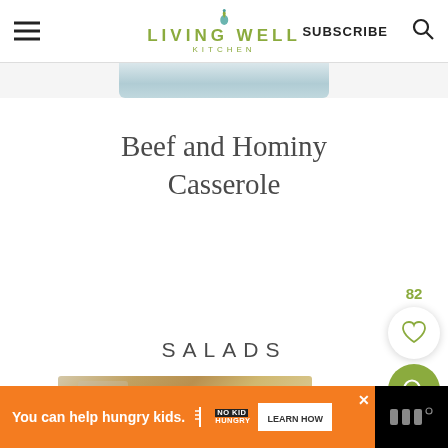LIVING WELL KITCHEN | SUBSCRIBE
[Figure (photo): Partial view of a food/casserole image cropped at top]
Beef and Hominy Casserole
SALADS
[Figure (photo): Partial view of a salad/food image at bottom]
You can help hungry kids. NO KID HUNGRY LEARN HOW